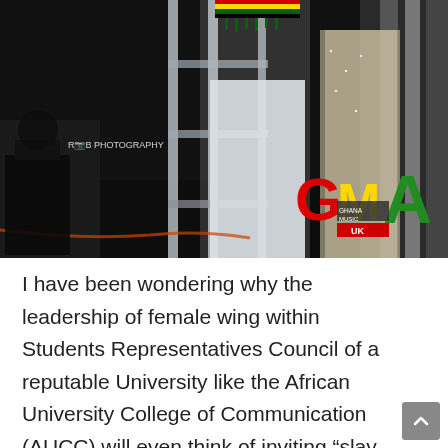[Figure (photo): Concert/awards stage photo showing a performer in white outfit with Ghanaian kente cloth stole, metal scaffolding visible, another person in silver sequined dress on right side. GMA (Ghana Music Awards UK) logo in bottom right corner with red, yellow, green and black colors. Rob Photography watermark visible on left side.]
I have been wondering why the leadership of female wing within Students Representatives Council of a reputable University like the African University College of Communication (AUCC) will even think of inviting "slay queen" actress Fella Makafui to address its students on a serious theme "Entrepreneurship: the main tool for Ghana's